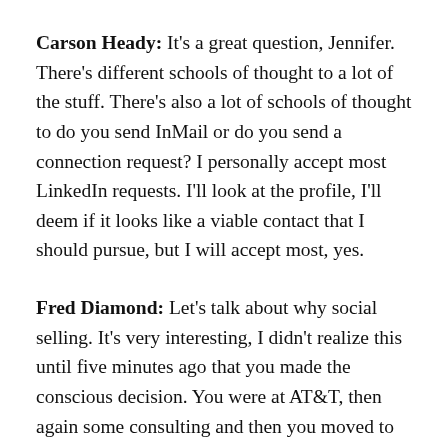Carson Heady: It's a great question, Jennifer. There's different schools of thought to a lot of the stuff. There's also a lot of schools of thought to do you send InMail or do you send a connection request? I personally accept most LinkedIn requests. I'll look at the profile, I'll deem if it looks like a viable contact that I should pursue, but I will accept most, yes.
Fred Diamond: Let's talk about why social selling. It's very interesting, I didn't realize this until five minutes ago that you made the conscious decision. You were at AT&T, then again some consulting and then you moved to Microsoft and you made this decision to invent yourself as this guy, you started the journey.
But as we were talking before, sometimes I'll send a